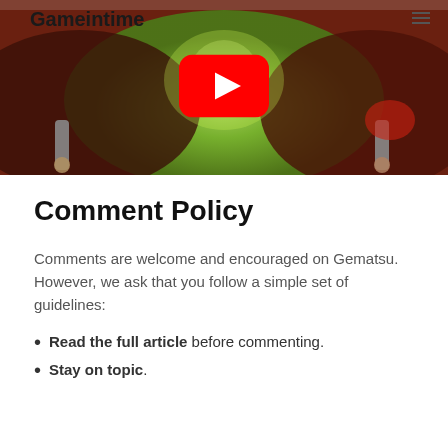[Figure (screenshot): Website header showing 'Gameintime' logo text on the left, YouTube play button in the center, hamburger menu icon on the right, with a colorful game artwork background (red, green tones) showing mechanical/robot imagery.]
Comment Policy
Comments are welcome and encouraged on Gematsu. However, we ask that you follow a simple set of guidelines:
Read the full article before commenting.
Stay on topic.